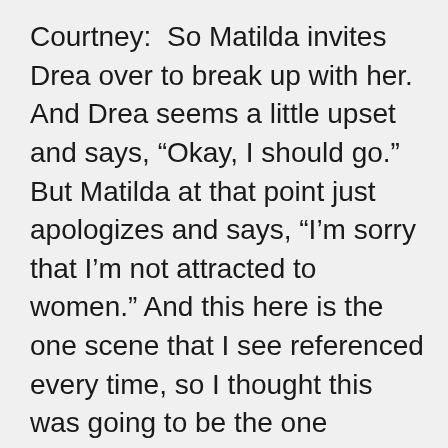Courtney:  So Matilda invites Drea over to break up with her. And Drea seems a little upset and says, “Okay, I should go.” But Matilda at that point just apologizes and says, “I’m sorry that I’m not attracted to women.” And this here is the one scene that I see referenced every time, so I thought this was going to be the one singular scene. But Drea says, “It’s not your fault. And by the way, I don’t think I’m attracted to anybody. I think I might be asexual.” And at first Matilda is confused and says, you know, “What do you mean by that?” And Drea explains that all of the previous times that they have had sex was